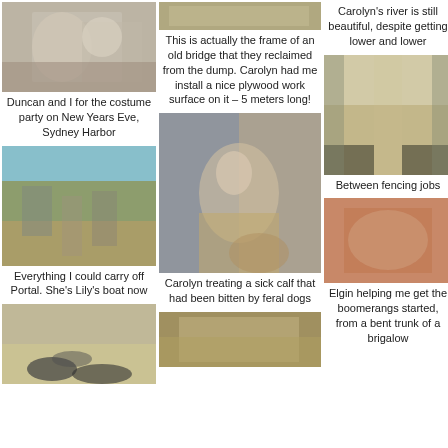[Figure (photo): Duncan and I at costume party]
Duncan and I for the costume party on New Years Eve, Sydney Harbor
[Figure (photo): Objects piled outside on a terrace, boat stuff]
Everything I could carry off Portal. She's Lily's boat now
[Figure (photo): Dog and cat lying on the ground]
[Figure (photo): Frame of an old bridge reclaimed from the dump]
This is actually the frame of an old bridge that they reclaimed from the dump. Carolyn had me install a nice plywood work surface on it – 5 meters long!
[Figure (photo): Carolyn treating a sick calf bitten by feral dogs]
Carolyn treating a sick calf that had been bitten by feral dogs
[Figure (photo): Close up of boomerang wood]
Carolyn's river is still beautiful, despite getting lower and lower
[Figure (photo): Dirt road between trees]
Between fencing jobs
[Figure (photo): Elgin helping with boomerangs from bent brigalow trunk]
Elgin helping me get the boomerangs started, from a bent trunk of a brigalow